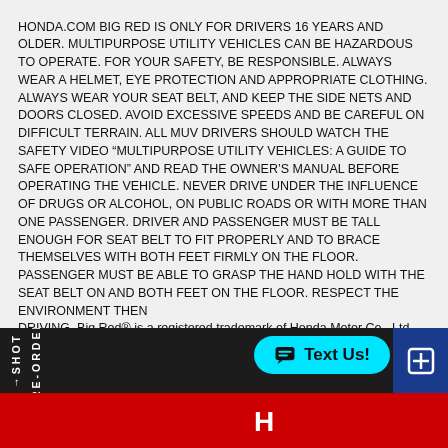honda.com BIG RED IS ONLY FOR DRIVERS 16 YEARS AND OLDER. MULTIPURPOSE UTILITY VEHICLES CAN BE HAZARDOUS TO OPERATE. FOR YOUR SAFETY, BE RESPONSIBLE. ALWAYS WEAR A HELMET, EYE PROTECTION AND APPROPRIATE CLOTHING. ALWAYS WEAR YOUR SEAT BELT, AND KEEP THE SIDE NETS AND DOORS CLOSED. AVOID EXCESSIVE SPEEDS AND BE CAREFUL ON DIFFICULT TERRAIN. ALL MUV DRIVERS SHOULD WATCH THE SAFETY VIDEO “MULTIPURPOSE UTILITY VEHICLES: A GUIDE TO SAFE OPERATION” AND READ THE OWNER’S MANUAL BEFORE OPERATING THE VEHICLE. NEVER DRIVE UNDER THE INFLUENCE OF DRUGS OR ALCOHOL, ON PUBLIC ROADS OR WITH MORE THAN ONE PASSENGER. DRIVER AND PASSENGER MUST BE TALL ENOUGH FOR SEAT BELT TO FIT PROPERLY AND TO BRACE THEMSELVES WITH BOTH FEET FIRMLY ON THE FLOOR. PASSENGER MUST BE ABLE TO GRASP THE HAND HOLD WITH THE SEAT BELT ON AND BOTH FEET ON THE FLOOR. RESPECT THE ENVIRONMENT THEN DRIVING. Big Red® is a registered trademark of Honda Motor Co., Ltd. (MM/YY)
[Figure (screenshot): Bottom navigation bar with black background on left showing 'SHOT' and 'RE-ORDER' text vertically, a red banner across the bottom, a cyan 'Text Us!' chat button on the right side, and a blue corner element on far right.]